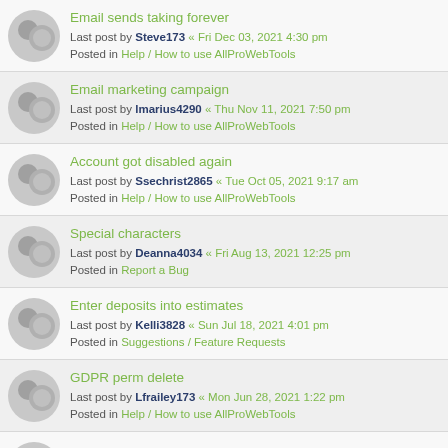Email sends taking forever
Last post by Steve173 « Fri Dec 03, 2021 4:30 pm
Posted in Help / How to use AllProWebTools
Email marketing campaign
Last post by lmarius4290 « Thu Nov 11, 2021 7:50 pm
Posted in Help / How to use AllProWebTools
Account got disabled again
Last post by Ssechrist2865 « Tue Oct 05, 2021 9:17 am
Posted in Help / How to use AllProWebTools
Special characters
Last post by Deanna4034 « Fri Aug 13, 2021 12:25 pm
Posted in Report a Bug
Enter deposits into estimates
Last post by Kelli3828 « Sun Jul 18, 2021 4:01 pm
Posted in Suggestions / Feature Requests
GDPR perm delete
Last post by Lfrailey173 « Mon Jun 28, 2021 1:22 pm
Posted in Help / How to use AllProWebTools
AllProWebTools Version 5.8 (Expected 12-01-2022)
Last post by Dave « Thu Jun 03, 2021 3:06 pm